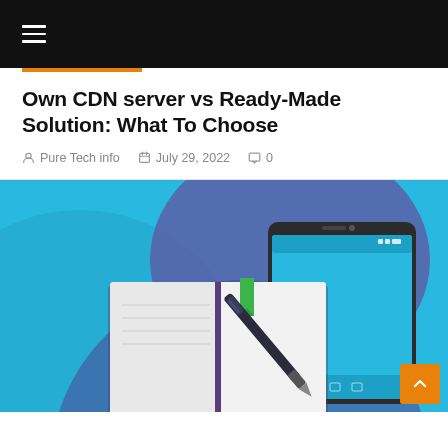☰ (navigation menu)
Own CDN server vs Ready-Made Solution: What To Choose
Pure Tech info   July 29, 2022   0
[Figure (illustration): Illustration showing a smartphone and an open notebook/notepad with a pen on a bright blue background with purple circular shapes.]